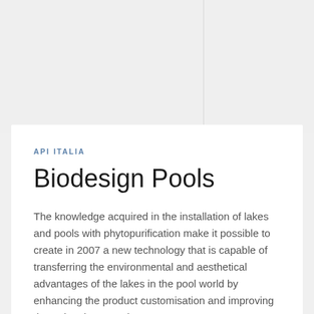API ITALIA
Biodesign Pools
The knowledge acquired in the installation of lakes and pools with phytopurification make it possible to create in 2007 a new technology that is capable of transferring the environmental and aesthetical advantages of the lakes in the pool world by enhancing the product customisation and improving the swimming experience.